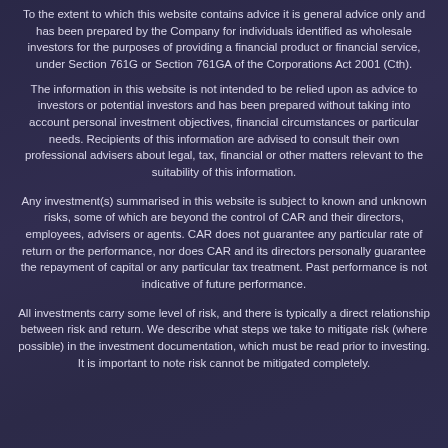To the extent to which this website contains advice it is general advice only and has been prepared by the Company for individuals identified as wholesale investors for the purposes of providing a financial product or financial service, under Section 761G or Section 761GA of the Corporations Act 2001 (Cth).
The information in this website is not intended to be relied upon as advice to investors or potential investors and has been prepared without taking into account personal investment objectives, financial circumstances or particular needs. Recipients of this information are advised to consult their own professional advisers about legal, tax, financial or other matters relevant to the suitability of this information.
Any investment(s) summarised in this website is subject to known and unknown risks, some of which are beyond the control of CAR and their directors, employees, advisers or agents. CAR does not guarantee any particular rate of return or the performance, nor does CAR and its directors personally guarantee the repayment of capital or any particular tax treatment. Past performance is not indicative of future performance.
All investments carry some level of risk, and there is typically a direct relationship between risk and return. We describe what steps we take to mitigate risk (where possible) in the investment documentation, which must be read prior to investing. It is important to note risk cannot be mitigated completely.